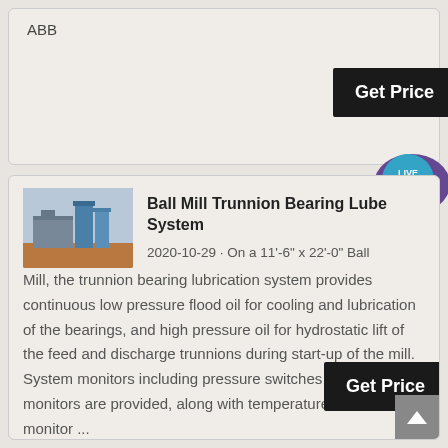ABB
[Figure (screenshot): Get Price button (dark background, white text)]
[Figure (illustration): Live Chat speech bubble icon with teal/purple colors and text 'LIVE CHAT']
[Figure (photo): Industrial ball mill / cement plant facility photo with blue silos and red-brown ground]
Ball Mill Trunnion Bearing Lube System
2020-10-29 · On a 11'-6" x 22'-0" Ball Mill, the trunnion bearing lubrication system provides continuous low pressure flood oil for cooling and lubrication of the bearings, and high pressure oil for hydrostatic lift of the feed and discharge trunnions during start-up of the mill. System monitors including pressure switches and flow monitors are provided, along with temperature sensors that monitor ...
[Figure (screenshot): Get Price button (dark background, white text)]